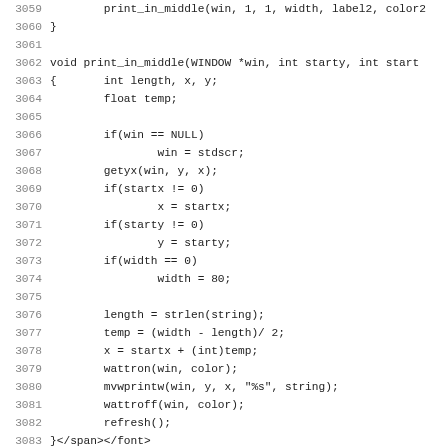Code listing showing lines 3059-3091 of source code including a C function print_in_middle and HTML closing tags